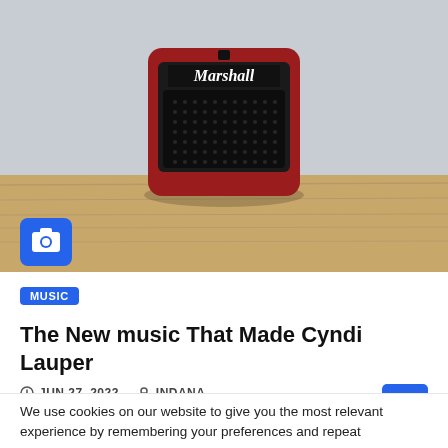[Figure (photo): A red Marshall mini guitar amplifier sitting on a wooden table against a light gray wall. A blue camera icon badge appears in the lower-left corner of the image.]
MUSIC
The New music That Made Cyndi Lauper
JUN 27, 2022   INDANA
We use cookies on our website to give you the most relevant experience by remembering your preferences and repeat